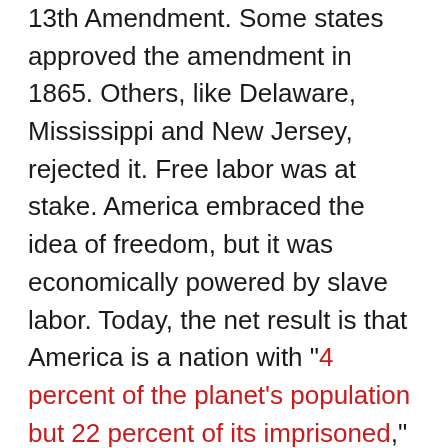13th Amendment. Some states approved the amendment in 1865. Others, like Delaware, Mississippi and New Jersey, rejected it. Free labor was at stake. America embraced the idea of freedom, but it was economically powered by slave labor. Today, the net result is that America is a nation with "4 percent of the planet's population but 22 percent of its imprisoned," according to Bryan Stevenson writing in The New York Times Magazine.
Some readers might be puzzled by our discussion of "slavery" in modern life.